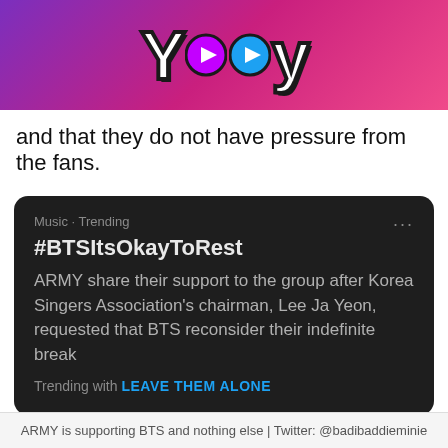[Figure (logo): Yaay app logo on gradient purple-to-pink banner background]
and that they do not have pressure from the fans.
[Figure (screenshot): Twitter trending topic card on dark background showing #BTSItsOkayToRest trending in Music, with description: ARMY share their support to the group after Korea Singers Association's chairman, Lee Ja Yeon, requested that BTS reconsider their indefinite break. Trending with LEAVE THEM ALONE.]
ARMY is supporting BTS and nothing else | Twitter: @badibaddieminie